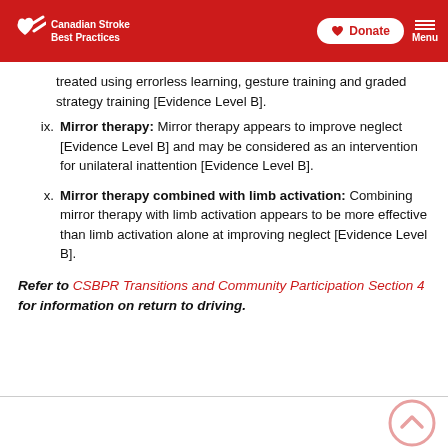Canadian Stroke Best Practices | Donate | Menu
treated using errorless learning, gesture training and graded strategy training [Evidence Level B].
ix. Mirror therapy: Mirror therapy appears to improve neglect [Evidence Level B] and may be considered as an intervention for unilateral inattention [Evidence Level B].
x. Mirror therapy combined with limb activation: Combining mirror therapy with limb activation appears to be more effective than limb activation alone at improving neglect [Evidence Level B].
Refer to CSBPR Transitions and Community Participation Section 4 for information on return to driving.